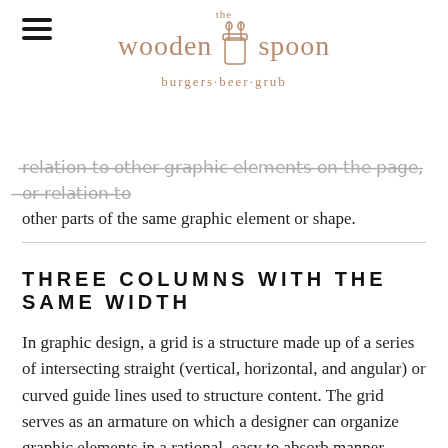the wooden spoon · burgers·beer·grub
relation to other graphic elements on the page, or relation to other parts of the same graphic element or shape.
THREE COLUMNS WITH THE SAME WIDTH
In graphic design, a grid is a structure made up of a series of intersecting straight (vertical, horizontal, and angular) or curved guide lines used to structure content. The grid serves as an armature on which a designer can organize graphic elements in a rational, easy to absorb manner.